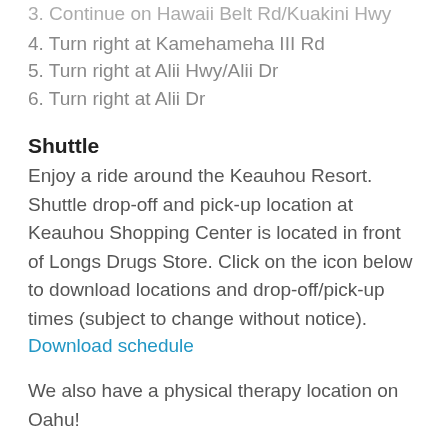3. Continue on Hawaii Belt Rd/Kuakini Hwy (partial, cut off at top)
4. Turn right at Kamehameha III Rd
5. Turn right at Alii Hwy/Alii Dr
6. Turn right at Alii Dr
Shuttle
Enjoy a ride around the Keauhou Resort. Shuttle drop-off and pick-up location at Keauhou Shopping Center is located in front of Longs Drugs Store. Click on the icon below to download locations and drop-off/pick-up times (subject to change without notice).
Download schedule
We also have a physical therapy location on Oahu!